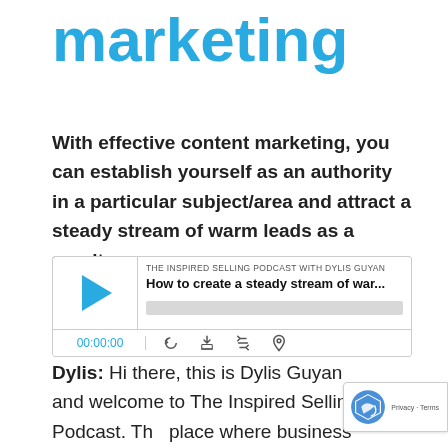marketing
With effective content marketing, you can establish yourself as an authority in a particular subject/area and attract a steady stream of warm leads as a result.
[Figure (screenshot): Podcast player widget for 'The Inspired Selling Podcast with Dylis Guyan' showing episode 'How to create a steady stream of war...' with play button, progress bar, timestamp 00:00:00, and controls for RSS, download, embed code, and subscription.]
Dylis: Hi there, this is Dylis Guyan and welcome to The Inspired Selling Podcast. The place where business owners, consultants,